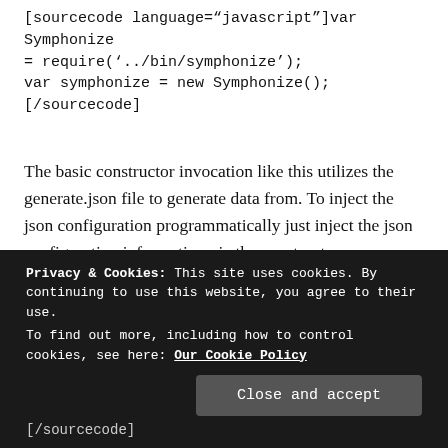[sourcecode language="javascript"]var Symphonize = require('../bin/symphonize');
var symphonize = new Symphonize();
[/sourcecode]
The basic constructor invocation like this utilizes the generate.json file to generate data from. To inject the json configuration programmatically just inject the json configuration information via the constructor.
Privacy & Cookies: This site uses cookies. By continuing to use this website, you agree to their use.
To find out more, including how to control cookies, see here: Our Cookie Policy
[/sourcecode]